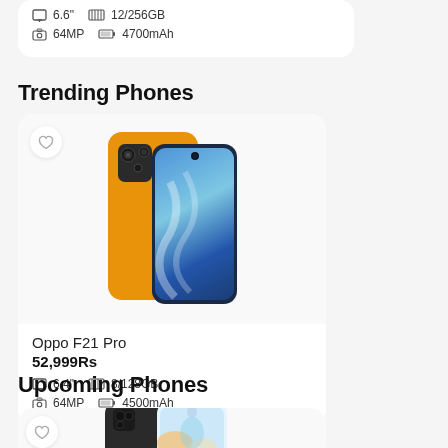6.6"  12/256GB  64MP  4700mAh
Trending Phones
[Figure (photo): Oppo F21 Pro smartphone image showing orange/gold back and blue display screen]
Oppo F21 Pro
52,999Rs
6.4"  8/128GB  64MP  4500mAh
Upcoming Phones
[Figure (photo): Upcoming phone showing black and white/light blue smartphone]